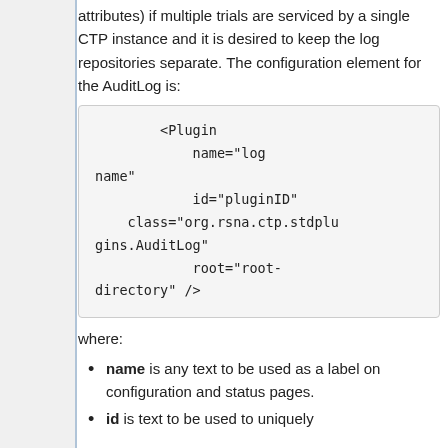attributes) if multiple trials are serviced by a single CTP instance and it is desired to keep the log repositories separate. The configuration element for the AuditLog is:
<Plugin
                name="log name"
                id="pluginID"
    class="org.rsna.ctp.stdplugins.AuditLog"
                root="root-directory" />
where:
name is any text to be used as a label on configuration and status pages.
id is text to be used to uniquely